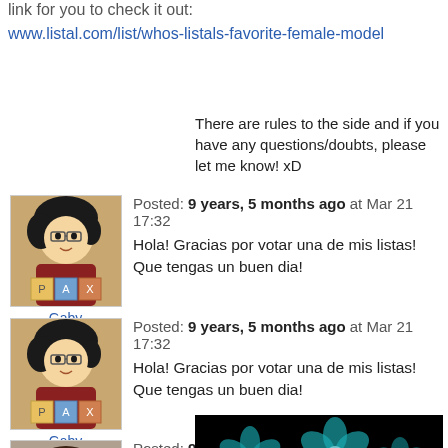link for you to check it out: www.listal.com/list/whos-listals-favorite-female-model
There are rules to the side and if you have any questions/doubts, please let me know! xD
Posted: 9 years, 5 months ago at Mar 21 17:32
Hola! Gracias por votar una de mis listas! Que tengas un buen dia!
Posted: 9 years, 5 months ago at Mar 21 17:32
Hola! Gracias por votar una de mis listas! Que tengas un buen dia!
Posted: 9 years, 5 months ago at Mar 6 14:14
[Figure (photo): Teal glowing flower shapes on black background]